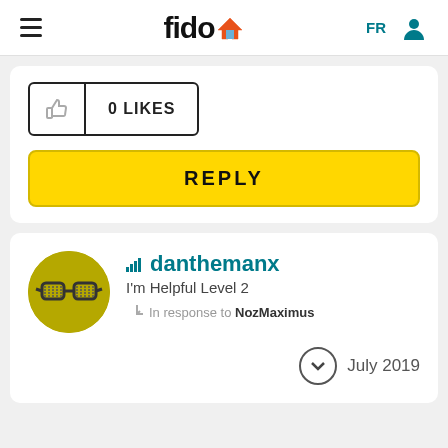fido — FR [user icon]
[Figure (screenshot): 0 LIKES button with thumbs up icon and count]
REPLY
[Figure (illustration): User avatar: yellow circle with cartoon glasses]
danthemanx
I'm Helpful Level 2
In response to NozMaximus
July 2019